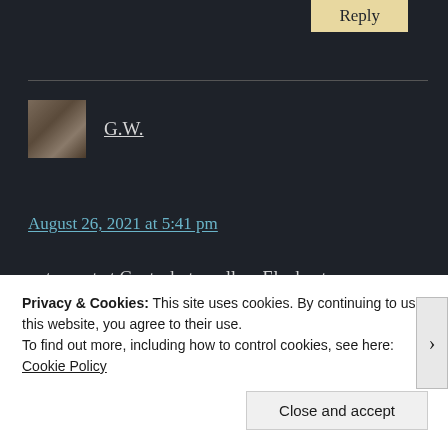[Figure (other): Reply button (tan/beige colored button with text 'Reply')]
[Figure (photo): User avatar thumbnail photo of G.W. showing a person reading]
G.W.
August 26, 2021 at 5:41 pm
…to swat at Gnats, but swallow Elephants…
★ Liked by 2 people
Privacy & Cookies: This site uses cookies. By continuing to use this website, you agree to their use.
To find out more, including how to control cookies, see here: Cookie Policy
Close and accept